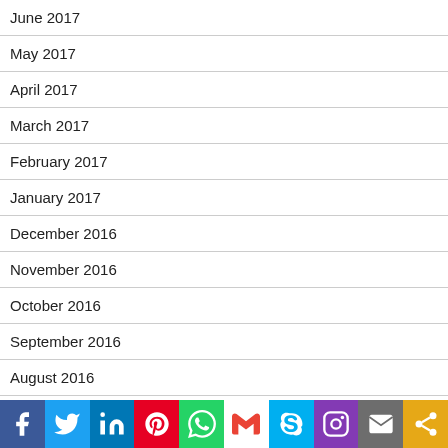June 2017
May 2017
April 2017
March 2017
February 2017
January 2017
December 2016
November 2016
October 2016
September 2016
August 2016
July 2016
[Figure (infographic): Social sharing toolbar with Facebook, Twitter, LinkedIn, Pinterest, WhatsApp, Gmail, Skype, Instagram, Email, and Share buttons]